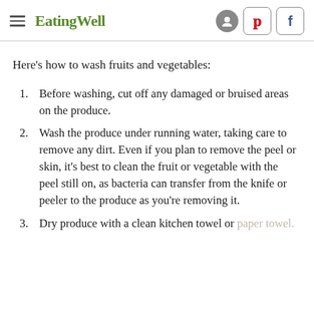EatingWell
Here's how to wash fruits and vegetables:
Before washing, cut off any damaged or bruised areas on the produce.
Wash the produce under running water, taking care to remove any dirt. Even if you plan to remove the peel or skin, it's best to clean the fruit or vegetable with the peel still on, as bacteria can transfer from the knife or peeler to the produce as you're removing it.
Dry produce with a clean kitchen towel or paper towel.